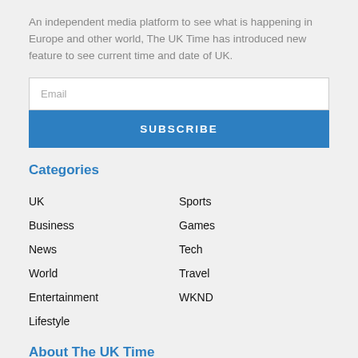An independent media platform to see what is happening in Europe and other world, The UK Time has introduced new feature to see current time and date of UK.
Email
SUBSCRIBE
Categories
UK
Sports
Business
Games
News
Tech
World
Travel
Entertainment
WKND
Lifestyle
About The UK Time